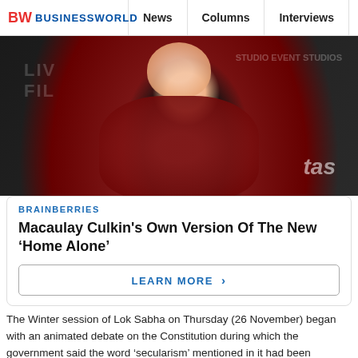BW BUSINESSWORLD | News | Columns | Interviews | BW
[Figure (photo): Photo of Macaulay Culkin in a dark red/maroon blazer over a black shirt, smiling, with hand raised, at what appears to be a film event. Background shows event branding text including 'LIV FIL' and other text.]
BRAINBERRIES
Macaulay Culkin's Own Version Of The New ‘Home Alone’
LEARN MORE ›
The Winter session of Lok Sabha on Thursday (26 November) began with an animated debate on the Constitution during which the government said the word ‘secularism’ mentioned in it had been "misused" while the opposition, led by Congress President Sonia Gandhi, raked up the issue of ‘intolerance’.